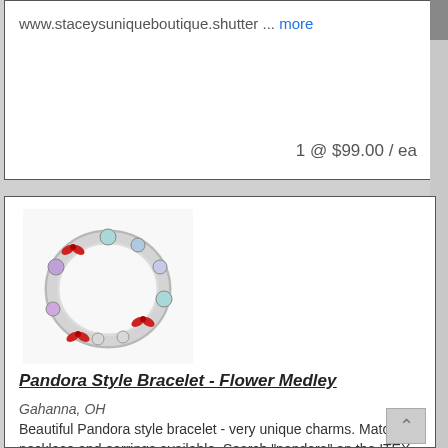www.staceysuniqueboutique.shutter ... more
1 @ $99.00 / ea
[Figure (photo): A Pandora style bracelet with colorful flower charms including red bows and purple and teal beads arranged in a circle on a white background.]
Pandora Style Bracelet - Flower Medley
Gahanna, OH
Beautiful Pandora style bracelet - very unique charms. Matching necklace and earrings available. Search "pandora" on the ITEX website to see many of my pieces.Visit www.staceysuniqueboutique.shutter ... more
1 @ $99.00 / ea